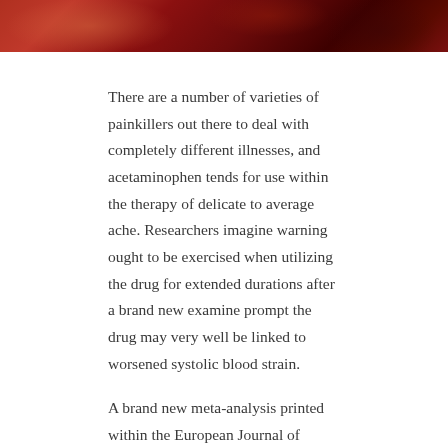[Figure (photo): Cropped photo showing a person with red/warm tones, partially visible at the top of the page]
There are a number of varieties of painkillers out there to deal with completely different illnesses, and acetaminophen tends for use within the therapy of delicate to average ache. Researchers imagine warning ought to be exercised when utilizing the drug for extended durations after a brand new examine prompt the drug may very well be linked to worsened systolic blood strain.
A brand new meta-analysis printed within the European Journal of Preventive Cardiology has discovered that sufferers with cardiovascular dangers had the next likelihood of elevated systolic blood strain.
Rahul Gupta, a heart problems fellow at Lehigh Valley Health Network, informed Healio: “Acetaminophen is one of the most widely used over-the-counter medications, as it is considered a safer medication for long-term use since it lacks the anti-